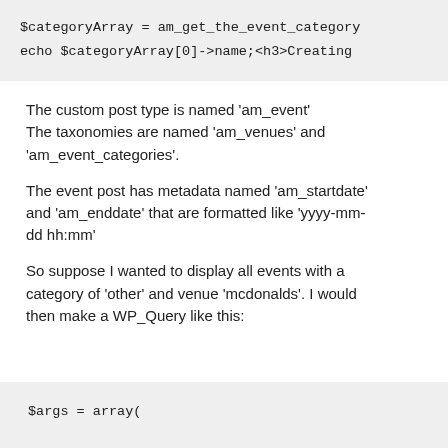[Figure (screenshot): Code block showing: $categoryArray = am_get_the_event_category and echo $categoryArray[0]->name;<h3>Creating]
The custom post type is named 'am_event' The taxonomies are named 'am_venues' and 'am_event_categories'.
The event post has metadata named 'am_startdate' and 'am_enddate' that are formatted like 'yyyy-mm-dd hh:mm'
So suppose I wanted to display all events with a category of 'other' and venue 'mcdonalds'. I would then make a WP_Query like this:
[Figure (screenshot): Code block showing: $args = array(]